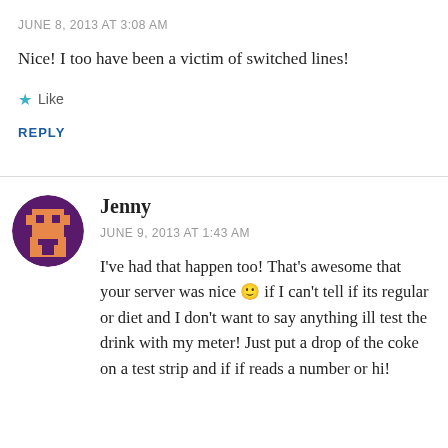JUNE 8, 2013 AT 3:08 AM
Nice! I too have been a victim of switched lines!
Like
REPLY
Jenny
JUNE 9, 2013 AT 1:43 AM
I've had that happen too! That's awesome that your server was nice 🙂 if I can't tell if its regular or diet and I don't want to say anything ill test the drink with my meter! Just put a drop of the coke on a test strip and if if reads a number or hi!